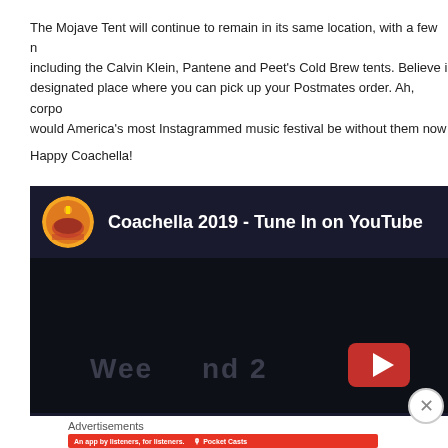The Mojave Tent will continue to remain in its same location, with a few notable additions including the Calvin Klein, Pantene and Peet's Cold Brew tents. Believe it or not, there's now a designated place where you can pick up your Postmates order. Ah, corporate sponsors — where would America's most Instagrammed music festival be without them now?
Happy Coachella!
[Figure (screenshot): YouTube video embed showing 'Coachella 2019 - Tune In on YouTube' with YouTube play button and 'Weekend 2' text overlay on dark background]
Advertisements
[Figure (illustration): Pocket Casts advertisement banner: 'An app by listeners, for listeners.' on red background with app screenshot and Pocket Casts logo]